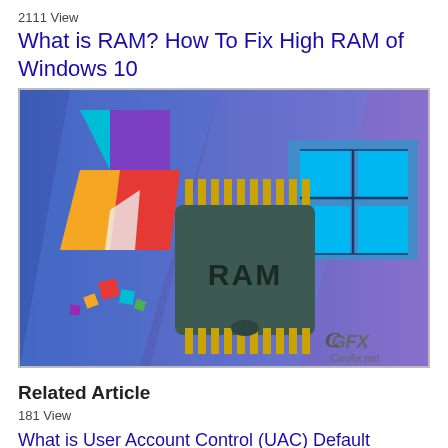2111 View
What is RAM? How To Fix High RAM of Windows 10
[Figure (illustration): Illustration showing a RAM chip with Windows 10 logo and colorful geometric rocket shape on a blue background, with Ceofix.net watermark]
Related Article
181 View
What is User Account Control (UAC) Default Setting?
[Figure (screenshot): Partial screenshot showing a Windows UAC related image with teal/cyan background, partially visible]